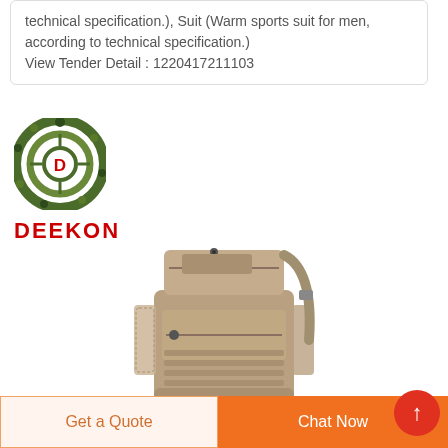technical specification.), Suit (Warm sports suit for men, according to technical specification.) View Tender Detail : 1220417211103
[Figure (logo): Deekon brand logo with camouflage-style circular target icon above the red text DEEKON]
[Figure (photo): Tan/coyote colored tactical sling bag/shoulder pack with MOLLE webbing, multiple zipper pockets and side mesh pocket]
Get a Quote
Chat Now